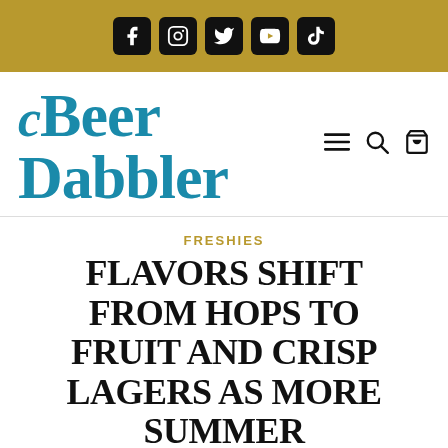Social media icons: Facebook, Instagram, Twitter, YouTube, TikTok
[Figure (logo): Beer Dabbler logo in teal/blue serif font with decorative swirl C]
FRESHIES
FLAVORS SHIFT FROM HOPS TO FRUIT AND CRISP LAGERS AS MORE SUMMER